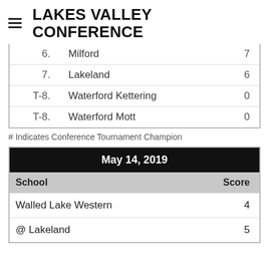LAKES VALLEY CONFERENCE
| Rank | School | Score |
| --- | --- | --- |
| 6. | Milford | 7 |
| 7. | Lakeland | 6 |
| T-8. | Waterford Kettering | 0 |
| T-8. | Waterford Mott | 0 |
# Indicates Conference Tournament Champion
| School | Score |
| --- | --- |
| Walled Lake Western | 4 |
| @ Lakeland | 5 |